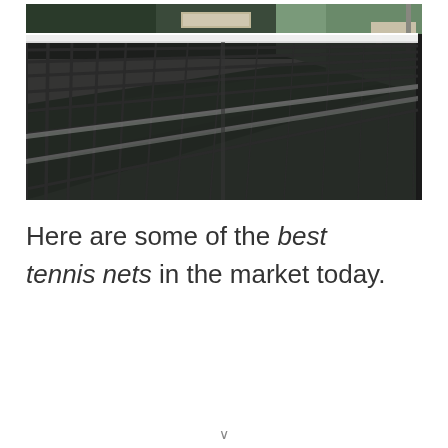[Figure (photo): Close-up photograph of a black tennis net on a green hard court, taken from a low angle along the net. The court surface and white lines are visible in the background, along with court benches and light poles.]
Here are some of the best tennis nets in the market today.